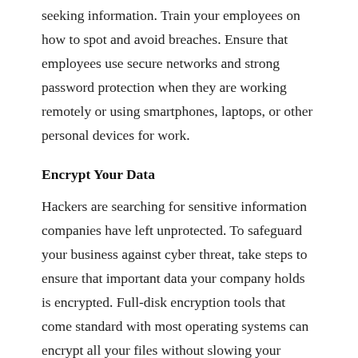seeking information. Train your employees on how to spot and avoid breaches. Ensure that employees use secure networks and strong password protection when they are working remotely or using smartphones, laptops, or other personal devices for work.
Encrypt Your Data
Hackers are searching for sensitive information companies have left unprotected. To safeguard your business against cyber threat, take steps to ensure that important data your company holds is encrypted. Full-disk encryption tools that come standard with most operating systems can encrypt all your files without slowing your system down.